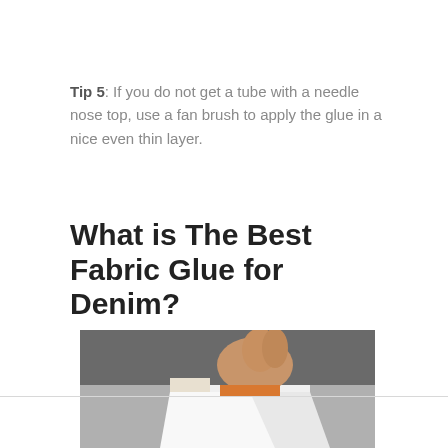Tip 5: If you do not get a tube with a needle nose top, use a fan brush to apply the glue in a nice even thin layer.
What is The Best Fabric Glue for Denim?
[Figure (photo): Close-up photo of a hand applying or using fabric glue on denim fabric, showing the glue being spread.]